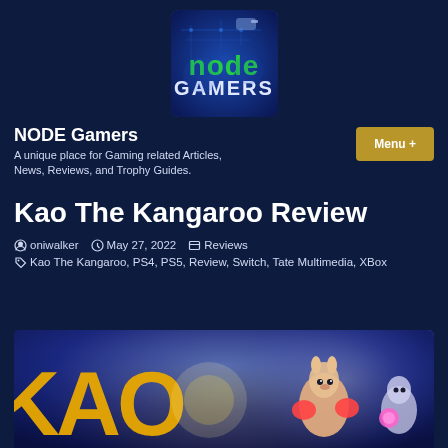[Figure (logo): NODE Gamers logo - blue glowing circuit board background with green 'node' text and white 'GAMERS' text, rounded square icon]
NODE Gamers
A unique place for Gaming related Articles, News, Reviews, and Trophy Guides.
Menu +
Kao The Kangaroo Review
oniwalker   May 27, 2022   Reviews
Kao The Kangaroo, PS4, PS5, Review, Switch, Tate Multimedia, XBox
[Figure (illustration): Kao The Kangaroo game key art showing 'KAO' golden letters and a cartoon kangaroo character with boxing gloves on blue/purple background with another animal character]